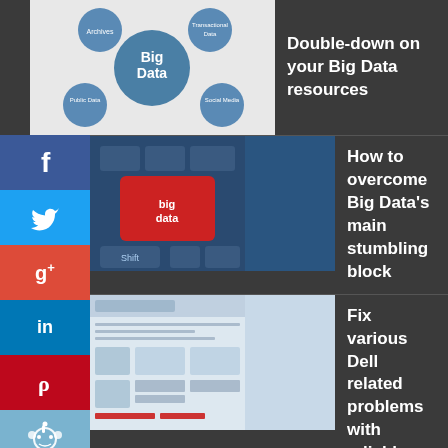[Figure (screenshot): Big Data diagram with blue circles and 'Big Data' text in center]
Double-down on your Big Data resources
[Figure (photo): Red big data keyboard key on blue keyboard]
How to overcome Big Data’s main stumbling block
[Figure (screenshot): Dell support webpage screenshot]
Fix various Dell related problems with reliable technical support
[Figure (screenshot): Webroot Customer Service webpage with people and laptop]
Webroot support phone number 1-844-415-8200 for customer support